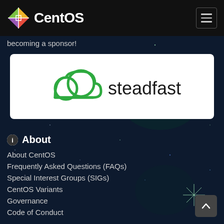CentOS
becoming a sponsor!
[Figure (logo): Steadfast company logo - green cloud icon with the word 'steadfast' in dark text on white background]
About
About CentOS
Frequently Asked Questions (FAQs)
Special Interest Groups (SIGs)
CentOS Variants
Governance
Code of Conduct